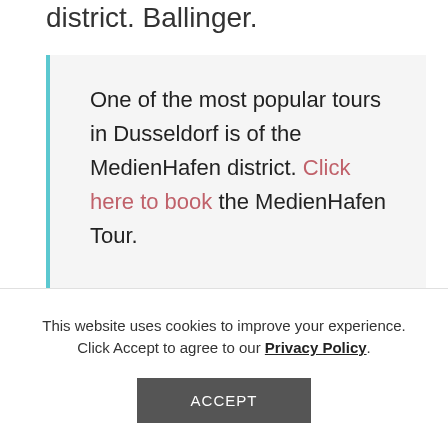district. Click here to book the MedienHafen Tour.
One of the most popular tours in Dusseldorf is of the MedienHafen district. Click here to book the MedienHafen Tour.

If you're interested in sweet treats and
This website uses cookies to improve your experience. Click Accept to agree to our Privacy Policy.
ACCEPT